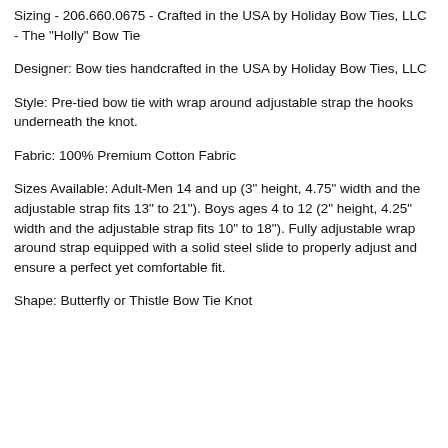Sizing - 206.660.0675 - Crafted in the USA by Holiday Bow Ties, LLC - The "Holly" Bow Tie
Designer: Bow ties handcrafted in the USA by Holiday Bow Ties, LLC
Style: Pre-tied bow tie with wrap around adjustable strap the hooks underneath the knot.
Fabric: 100% Premium Cotton Fabric
Sizes Available: Adult-Men 14 and up (3" height, 4.75" width and the adjustable strap fits 13" to 21"). Boys ages 4 to 12 (2" height, 4.25" width and the adjustable strap fits 10" to 18"). Fully adjustable wrap around strap equipped with a solid steel slide to properly adjust and ensure a perfect yet comfortable fit.
Shape: Butterfly or Thistle Bow Tie Knot